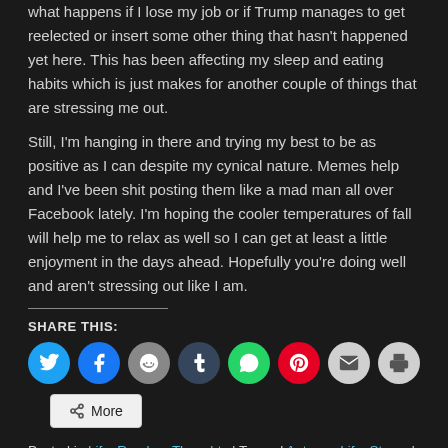what happens if I lose my job or if Trump manages to get reelected or insert some other thing that hasn't happened yet here. This has been affecting my sleep and eating habits which is just makes for another couple of things that are stressing me out.
Still, I'm hanging in there and trying my best to be as positive as I can despite my cynical nature. Memes help and I've been shit posting them like a mad man all over Facebook lately. I'm hoping the cooler temperatures of fall will help me to relax as well so I can get at least a little enjoyment in the days ahead. Hopefully you're doing well and aren't stressing out like I am.
SHARE THIS:
[Figure (infographic): Row of social sharing icon buttons: Twitter (blue), Facebook (blue), Reddit (gray), Tumblr (dark blue), WhatsApp (green), Pinterest (red), Email (light gray), Print (light gray)]
More
Posted in Life, Random Thoughts | Tagged Autumn, Life, Stress | 1 Reply